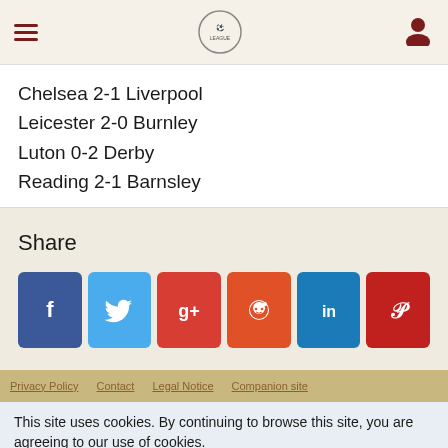Navigation header with hamburger menu, site logo, and user icon
Chelsea 2-1 Liverpool
Leicester 2-0 Burnley
Luton 0-2 Derby
Reading 2-1 Barnsley
Share
[Figure (infographic): Social share buttons: Facebook, Twitter, Google+, Reddit, LinkedIn, Pinterest]
Privacy Policy  Contact  Legal Notice  Companion site
This site uses cookies. By continuing to browse this site, you are agreeing to our use of cookies.